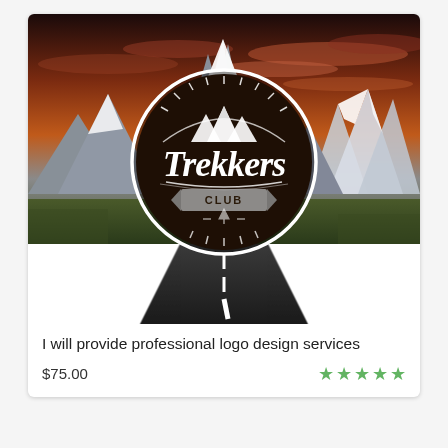[Figure (logo): A circular dark brown logo with 'Trekkers Club' script text set against a dramatic mountain landscape with a road leading into the distance under a vivid sunset sky. The logo features snowy mountain peaks and a banner ribbon reading 'CLUB'.]
I will provide professional logo design services
$75.00
★★★★★